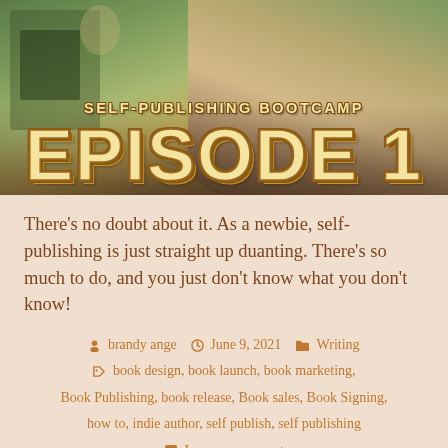[Figure (photo): Photo of a young woman with brown hair looking down, seated near a green wall with various items. Overlaid with large text reading 'SELF-PUBLISHING BOOTCAMP' and 'EPISODE 1' in bold western-style lettering with cream/gold color and brown outline.]
There's no doubt about it. As a newbie, self-publishing is just straight up duanting. There's so much to do, and you just don't know what you don't know!
brandy ange   June 9, 2021   Writing
book design, book launch, book marketing, Book Publishing, book release, Book sales, Book Signing, how to, indie author, self publish, self publishing
Leave a comment